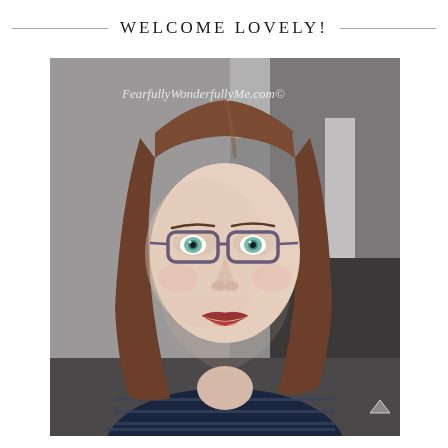WELCOME LOVELY!
[Figure (photo): A woman with shoulder-length brown hair, glasses with purple frames, green eyes, and red lipstick. She is wearing a navy blue striped shirt and smiling at the camera. The background shows a room with a grey wall. A watermark reads 'FearfullyWonderfullyMe.com©' in white italic text near the top of the image. A small arrow/caret icon is visible in the lower right corner of the image.]